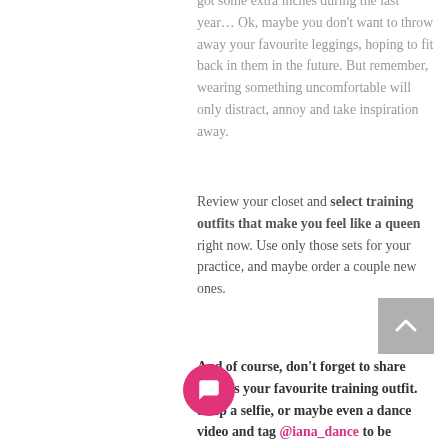got some extra inches during the last year… Ok, maybe you don't want to throw away your favourite leggings, hoping to fit back in them in the future. But remember, wearing something uncomfortable will only distract, annoy and take inspiration away.
Review your closet and select training outfits that make you feel like a queen right now. Use only those sets for your practice, and maybe order a couple new ones.
And of course, don't forget to share with us your favourite training outfit. Snap a selfie, or maybe even a dance video and tag @iana_dance to be featured in Instagram stories. Don't forget to mention 'Day 3 of the Fresh Start with #ianadanceclub